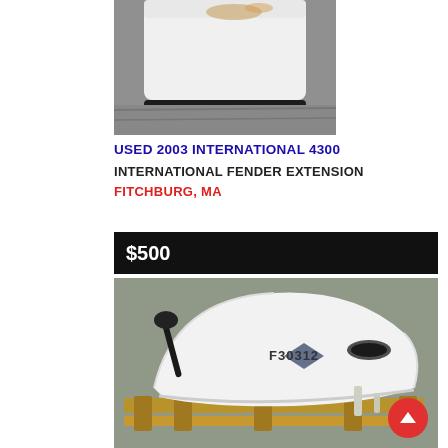[Figure (photo): Top partial view of a white truck fender extension piece on pavement, dark bar visible at top]
USED 2003 INTERNATIONAL 4300
INTERNATIONAL FENDER EXTENSION
FITCHBURG, MA
$500
[Figure (photo): White International truck fender extension part resting on wooden pallet, marked F30312, with mirror arm and hardware visible]